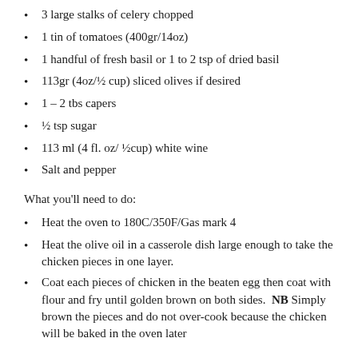3 large stalks of celery chopped
1 tin of tomatoes (400gr/14oz)
1 handful of fresh basil or 1 to 2 tsp of dried basil
113gr (4oz/½ cup) sliced olives if desired
1 – 2 tbs capers
½ tsp sugar
113 ml (4 fl. oz/ ½cup) white wine
Salt and pepper
What you'll need to do:
Heat the oven to 180C/350F/Gas mark 4
Heat the olive oil in a casserole dish large enough to take the chicken pieces in one layer.
Coat each pieces of chicken in the beaten egg then coat with flour and fry until golden brown on both sides.  NB Simply brown the pieces and do not over-cook because the chicken will be baked in the oven later